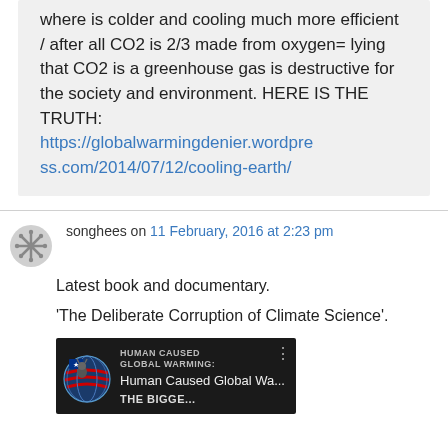where is colder and cooling much more efficient / after all CO2 is 2/3 made from oxygen= lying that CO2 is a greenhouse gas is destructive for the society and environment. HERE IS THE TRUTH: https://globalwarmingdenier.wordpress.com/2014/07/12/cooling-earth/
songhees on 11 February, 2016 at 2:23 pm
Latest book and documentary.
'The Deliberate Corruption of Climate Science'.
[Figure (screenshot): Video thumbnail showing 'Human Caused Global Warming' documentary with globe image and text 'HUMAN CAUSED GLOBAL WARMING: THE BIGGE...' on dark background]